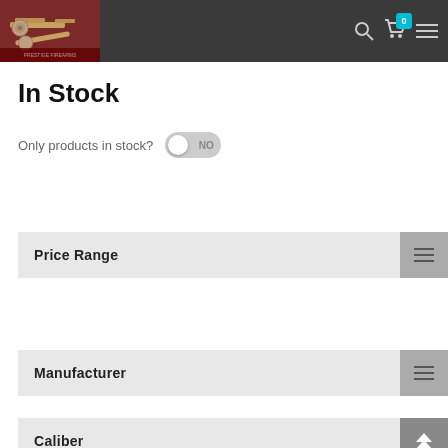[Figure (screenshot): Website header with dark background showing a logo/product image on left, search icon, cart icon with badge showing 0, and hamburger menu on right]
In Stock
Only products in stock? NO
Price Range
Manufacturer
Caliber